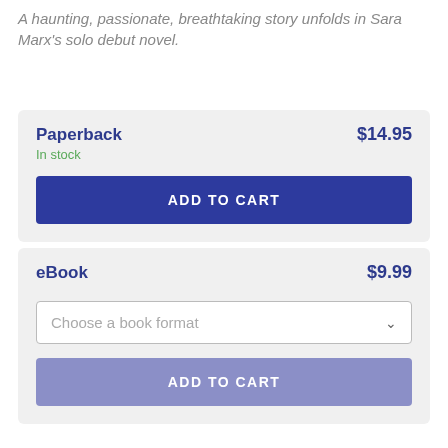A haunting, passionate, breathtaking story unfolds in Sara Marx's solo debut novel.
Paperback $14.95
In stock
ADD TO CART
eBook $9.99
Choose a book format
ADD TO CART